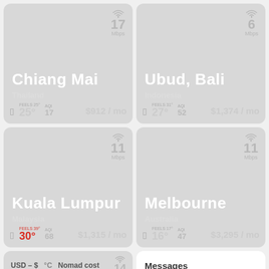[Figure (infographic): City card: Chiang Mai, Thailand. WiFi: 17 Mbps. Temperature: 25° (feels 25°). AQI: 17. Cost: $912/mo.]
[Figure (infographic): City card: Ubud, Bali, Indonesia. WiFi: 6 Mbps. Temperature: 27° (feels 31°). AQI: 52. Cost: $1,374/mo.]
[Figure (infographic): City card: Kuala Lumpur, Malaysia. WiFi: 11 Mbps. Temperature: 30° (feels 39°). AQI: 68. Cost: $1,315/mo.]
[Figure (infographic): City card: Melbourne, Australia. WiFi: 11 Mbps. Temperature: 16° (feels 17°). AQI: 47. Cost: $3,295/mo.]
USD – $  °C  Nomad cost  14 Mbps
Messages